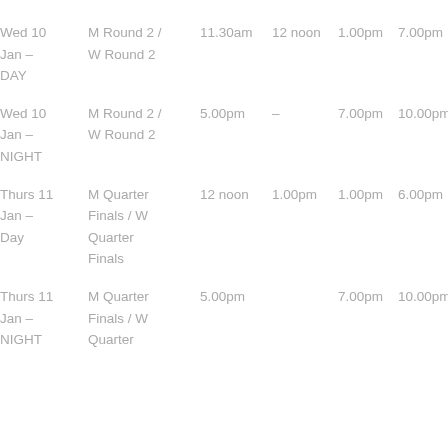| Date | Event | Time1 | Time2 | Time3 | Time4 |
| --- | --- | --- | --- | --- | --- |
| Wed 10 Jan – | M Round 2 / W Round 2 | 11.30am | 12 noon | 1.00pm | 7.00pm |
| DAY |  |  |  |  |  |
| Wed 10 Jan – | M Round 2 / W Round 2 | 5.00pm | – | 7.00pm | 10.00pm |
| NIGHT |  |  |  |  |  |
| Thurs 11 Jan – Day | M Quarter Finals / W Quarter Finals | 12 noon | 1.00pm | 1.00pm | 6.00pm |
| Thurs 11 Jan – | M Quarter Finals / W Quarter Finals | 5.00pm |  | 7.00pm | 10.00pm |
| NIGHT |  |  |  |  |  |